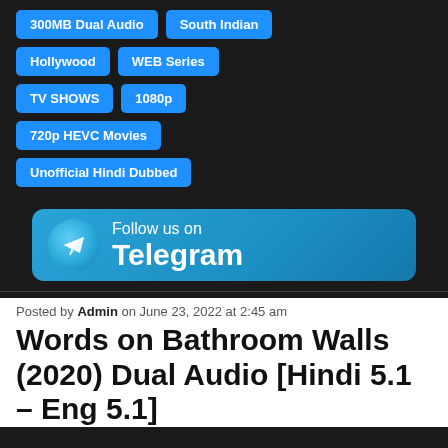300MB Dual Audio
South Indian
Hollywood
WEB Series
TV SHOWS
1080p
720p HEVC Movies
Unofficial Hindi Dubbed
[Figure (infographic): Follow us on Telegram banner with Telegram logo icon]
Posted by Admin on June 23, 2022 at 2:45 am
Words on Bathroom Walls (2020) Dual Audio [Hindi 5.1 – Eng 5.1]